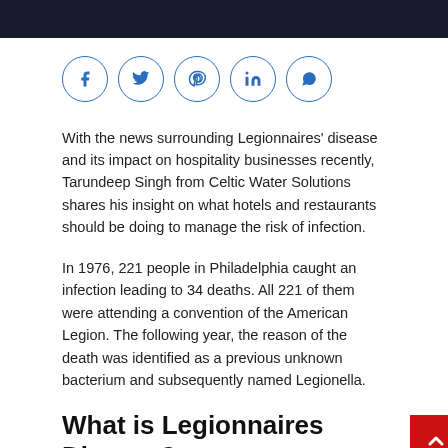[Figure (photo): Dark colored header image at the top of the page]
[Figure (infographic): Social sharing icons: Facebook, Twitter, Pinterest, LinkedIn, WhatsApp — each in a blue circle outline]
With the news surrounding Legionnaires' disease and its impact on hospitality businesses recently, Tarundeep Singh from Celtic Water Solutions shares his insight on what hotels and restaurants should be doing to manage the risk of infection.
In 1976, 221 people in Philadelphia caught an infection leading to 34 deaths. All 221 of them were attending a convention of the American Legion. The following year, the reason of the death was identified as a previous unknown bacterium and subsequently named Legionella.
What is Legionnaires Disease?
Legionnaires disease is a severe form of pneumonia...